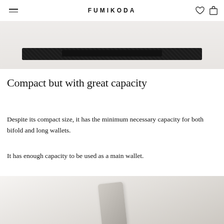FUMIKODA
[Figure (photo): Top portion of a dark navy/black wallet photographed against a light gray background, showing the wallet's strap or clasp detail]
Compact but with great capacity
Despite its compact size, it has the minimum necessary capacity for both bifold and long wallets.
It has enough capacity to be used as a main wallet.
[Figure (photo): Bottom portion of product photo showing a light-colored wallet or bag against a white/cream background]